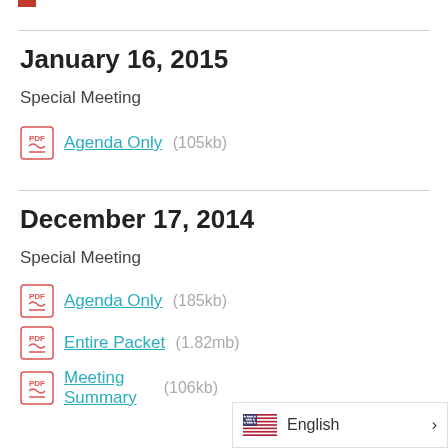January 16, 2015
Special Meeting
Agenda Only  (105kb)
December 17, 2014
Special Meeting
Agenda Only  (185kb)
Entire Packet  (1.82mb)
Meeting Summary  (106kb)
English